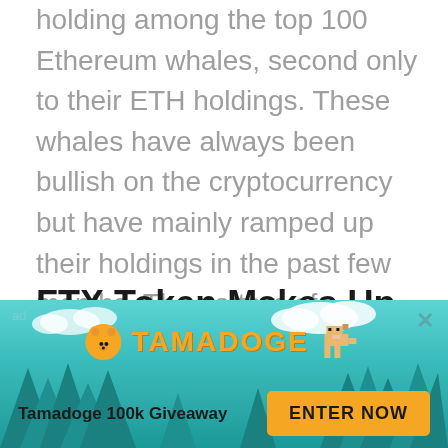holding among the top 100 Ethereum whales, second only to their ETH holdings. These whales have always been bullish on the cryptocurrency but have mainly ramped up their holdings in the past few months. The pattern of accumulation suggests that these whales are moving out of favorites such as Shiba Inu and have been moving into FTX Token. This looks to be the case given how much these whales hold.
FTX Token Makes Up 20%
With the recent ramp up of their holdings, FTX Token
[Figure (infographic): Tamadoge advertisement banner with teal/cyan background, pine trees silhouette, clouds, Tamadoge logo with orange bear icon and pixel-art dog character, 'Tamadoge 100k Giveaway' text and 'ENTER NOW' orange button. Labeled 'ad' in top left with X close button.]